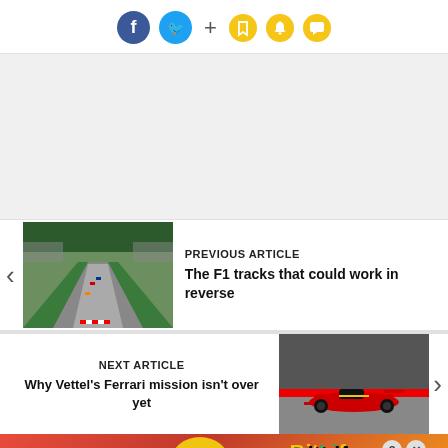[Figure (infographic): Social sharing bar with Facebook (blue circle), Twitter (cyan circle), plus sign, bookmark icon, bell icon, and chat bubble icon]
[Figure (photo): Advertisement placeholder area — gray background]
PREVIOUS ARTICLE
[Figure (photo): Aerial view of F1 race track with cars on grid/track, green run-off areas, spectators in stands]
The F1 tracks that could work in reverse
NEXT ARTICLE
Why Vettel's Ferrari mission isn't over yet
[Figure (photo): Ferrari F1 car racing on track, red car with yellow accents, action shot]
[Figure (advertisement): BitLife game advertisement with FAIL text, emoji, fire graphics, and START A NEW LIFE call to action on red/orange background]